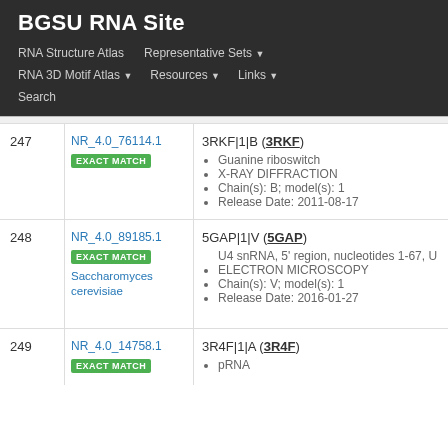BGSU RNA Site
RNA Structure Atlas | Representative Sets ▾ | RNA 3D Motif Atlas ▾ | Resources ▾ | Links ▾ | Search
| # | ID | Entry Info |
| --- | --- | --- |
| 247 | NR_4.0_76114.1
EXACT MATCH | 3RKF|1|B (3RKF)
• Guanine riboswitch
• X-RAY DIFFRACTION
• Chain(s): B; model(s): 1
• Release Date: 2011-08-17 |
| 248 | NR_4.0_89185.1
EXACT MATCH
Saccharomyces cerevisiae | 5GAP|1|V (5GAP)
• U4 snRNA, 5' region, nucleotides 1-67, U
• ELECTRON MICROSCOPY
• Chain(s): V; model(s): 1
• Release Date: 2016-01-27 |
| 249 | NR_4.0_14758.1
EXACT MATCH | 3R4F|1|A (3R4F)
• pRNA |